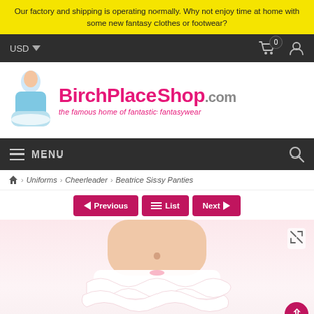Our factory and shipping is operating normally. Why not enjoy time at home with some new fantasy clothes or footwear?
USD  0
[Figure (logo): BirchPlaceShop.com logo with woman in blue costume and tagline 'the famous home of fantastic fantasywear']
MENU
Uniforms · Cheerleader · Beatrice Sissy Panties
Previous  List  Next
[Figure (photo): Product photo of white ruffled sissy panties on model, cropped view of torso and waist]